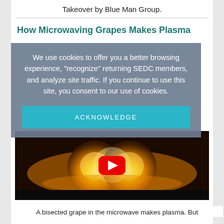Takeover by Blue Man Group.
How Microwaving Grapes Makes Plasma
We use cookies to offer you a better browsing experience, "recognize" returning SEDC members, and analyze site traffic. If you continue to use this site, you consent to our use of cookies.
ACKNOWLEDGE
[Figure (screenshot): YouTube video thumbnail showing glowing grapes in a microwave emitting bright orange/yellow plasma light, with a red YouTube play button in the center.]
A bisected grape in the microwave makes plasma. But